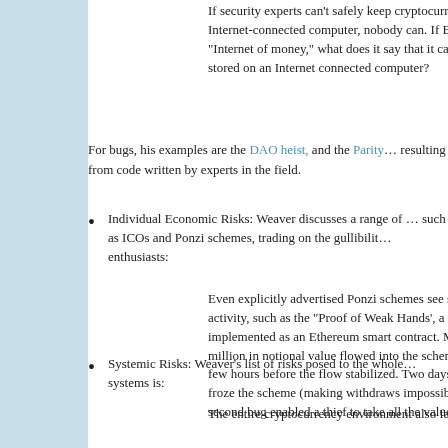If security experts can't safely keep cryptocurrencies on an Internet-connected computer, nobody can. If Bitcoin is the "Internet of money," what does it say that it cannot be safely stored on an Internet connected computer?
For bugs, his examples are the DAO heist, and the Parity … resulting from code written by experts in the field.
Individual Economic Risks: Weaver discusses a range of … such as ICOs and Ponzi schemes, trading on the gullibility … enthusiasts:
Even explicitly advertised Ponzi schemes see sign… activity, such as the "Proof of Weak Hands', a Ponz… implemented as an Ethereum smart contract. More… million in notional value flowed into the scheme in t… a few hours before the flow stabilized. Two days la… froze the scheme (making withdraws impossible) b… second bug enabled a thief to take all the value.
Systemic Risks: Weaver's list of risks posed to the whole … systems is:
The entire cryptocurrency environment also faces s…